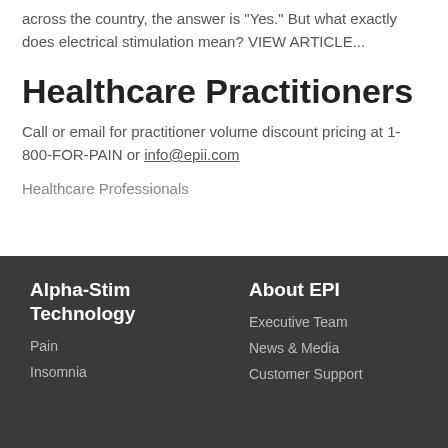across the country, the answer is “Yes.” But what exactly does electrical stimulation mean? VIEW ARTICLE...
Healthcare Practitioners
Call or email for practitioner volume discount pricing at 1-800-FOR-PAIN or info@epii.com
Healthcare Professionals
Alpha-Stim Technology
Pain
Insomnia
About EPI
Executive Team
News & Media
Customer Support